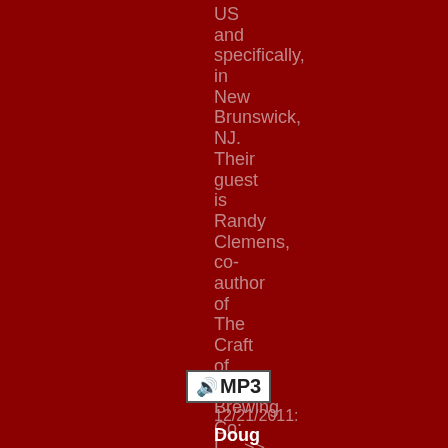US and specifically, in New Brunswick, NJ. Their guest is Randy Clemens, co-author of The Craft of Stone Brewing Co: L....>> More
[Figure (other): MP3 audio badge icon with speaker symbol]
12/21/2011: Doug Frost, MS, MW: